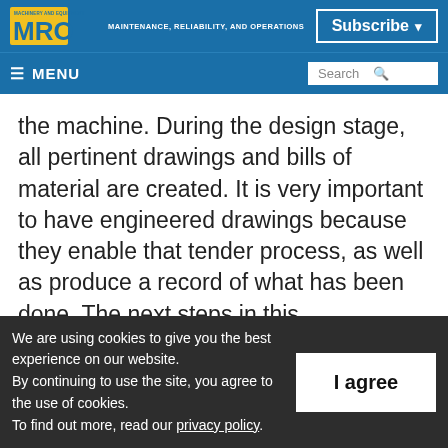MRO — Machinery and Equipment — MAINTENANCE, RELIABILITY, AND OPERATIONS | Subscribe | MENU | Search
the machine. During the design stage, all pertinent drawings and bills of material are created. It is very important to have engineered drawings because they enable that tender process, as well as produce a record of what has been done. The next steps in this
We are using cookies to give you the best experience on our website.
By continuing to use the site, you agree to the use of cookies.
To find out more, read our privacy policy.